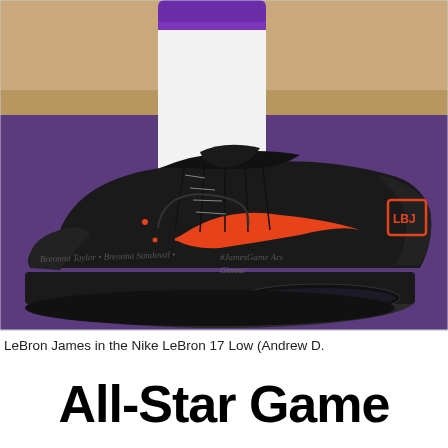[Figure (photo): Close-up photo of LeBron James's foot wearing a black Nike LeBron 17 Low sneaker with red/orange Nike swoosh and accents, custom writing on the midsole, on a purple basketball court floor. White sock with purple stripe visible above the shoe.]
LeBron James in the Nike LeBron 17 Low (Andrew D.
All-Star Game